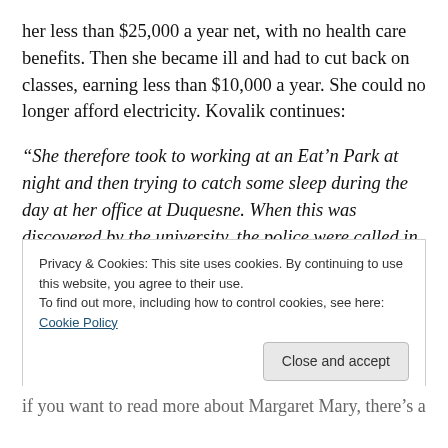her less than $25,000 a year net, with no health care benefits. Then she became ill and had to cut back on classes, earning less than $10,000 a year. She could no longer afford electricity. Kovalik continues:
“She therefore took to working at an Eat’n Park at night and then trying to catch some sleep during the day at her office at Duquesne. When this was discovered by the university, the police were called in to eject her from her office. Still, despite her cancer and her poverty, she never missed a day of class.
Privacy & Cookies: This site uses cookies. By continuing to use this website, you agree to their use.
To find out more, including how to control cookies, see here: Cookie Policy
if you want to read more about Margaret Mary, there’s a